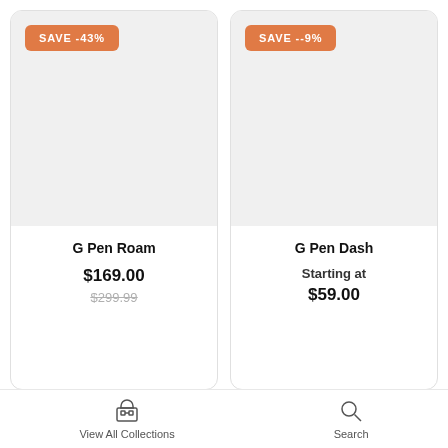[Figure (screenshot): Product card for G Pen Roam with SAVE -43% badge and gray product image area]
G Pen Roam
$169.00
$299.99
[Figure (screenshot): Product card for G Pen Dash with SAVE --9% badge and gray product image area]
G Pen Dash
Starting at
$59.00
View All Collections   Search